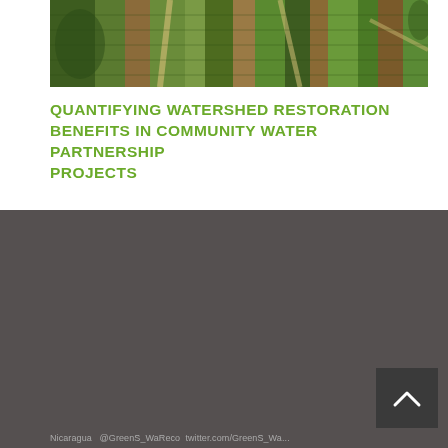[Figure (photo): Aerial photograph of agricultural fields with crop rows and pathways, green vegetation visible from above]
QUANTIFYING WATERSHED RESTORATION BENEFITS IN COMMUNITY WATER PARTNERSHIP PROJECTS
Home
Our Offices
Our Team
News & Media
Insights & Perspectives
Nicaragua @GreenWatershed twitter.com/GreenWa...